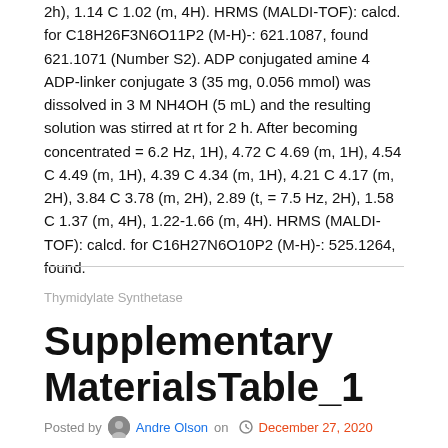2h), 1.14 C 1.02 (m, 4H). HRMS (MALDI-TOF): calcd. for C18H26F3N6O11P2 (M-H)-: 621.1087, found 621.1071 (Number S2). ADP conjugated amine 4 ADP-linker conjugate 3 (35 mg, 0.056 mmol) was dissolved in 3 M NH4OH (5 mL) and the resulting solution was stirred at rt for 2 h. After becoming concentrated = 6.2 Hz, 1H), 4.72 C 4.69 (m, 1H), 4.54 C 4.49 (m, 1H), 4.39 C 4.34 (m, 1H), 4.21 C 4.17 (m, 2H), 3.84 C 3.78 (m, 2H), 2.89 (t, = 7.5 Hz, 2H), 1.58 C 1.37 (m, 4H), 1.22-1.66 (m, 4H). HRMS (MALDI-TOF): calcd. for C16H27N6O10P2 (M-H)-: 525.1264, found.
Thymidylate Synthetase
Supplementary MaterialsTable_1
Posted by Andre Olson on December 27, 2020